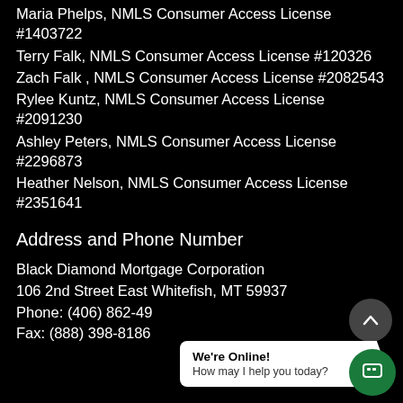Maria Phelps, NMLS Consumer Access License #1403722
Terry Falk, NMLS Consumer Access License #120326
Zach Falk , NMLS Consumer Access License #2082543
Rylee Kuntz, NMLS Consumer Access License #2091230
Ashley Peters, NMLS Consumer Access License #2296873
Heather Nelson, NMLS Consumer Access License #2351641
Address and Phone Number
Black Diamond Mortgage Corporation
106 2nd Street East Whitefish, MT 59937
Phone: (406) 862-49...
Fax: (888) 398-8186